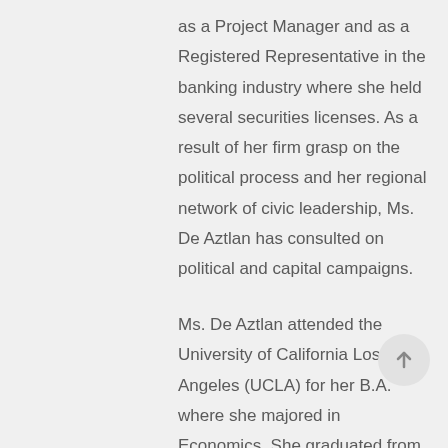as a Project Manager and as a Registered Representative in the banking industry where she held several securities licenses. As a result of her firm grasp on the political process and her regional network of civic leadership, Ms. De Aztlan has consulted on political and capital campaigns.
Ms. De Aztlan attended the University of California Los Angeles (UCLA) for her B.A. where she majored in Economics. She graduated from the University of Southern California (USC), Marshall School of Business for her master's